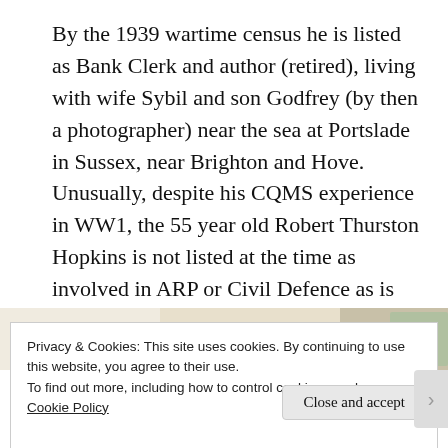By the 1939 wartime census he is listed as Bank Clerk and author (retired), living with wife Sybil and son Godfrey (by then a photographer) near the sea at Portslade in Sussex, near Brighton and Hove. Unusually, despite his CQMS experience in WW1, the 55 year old Robert Thurston Hopkins is not listed at the time as involved in ARP or Civil Defence as is sometimes recorded in the 1939 Census.
[Figure (photo): Partial view of a photograph strip showing light beige and greenery tones, partially obscured by the cookie banner overlay.]
Privacy & Cookies: This site uses cookies. By continuing to use this website, you agree to their use.
To find out more, including how to control cookies, see here:
Cookie Policy
Close and accept